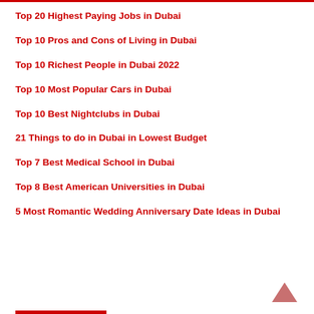Top 20 Highest Paying Jobs in Dubai
Top 10 Pros and Cons of Living in Dubai
Top 10 Richest People in Dubai 2022
Top 10 Most Popular Cars in Dubai
Top 10 Best Nightclubs in Dubai
21 Things to do in Dubai in Lowest Budget
Top 7 Best Medical School in Dubai
Top 8 Best American Universities in Dubai
5 Most Romantic Wedding Anniversary Date Ideas in Dubai